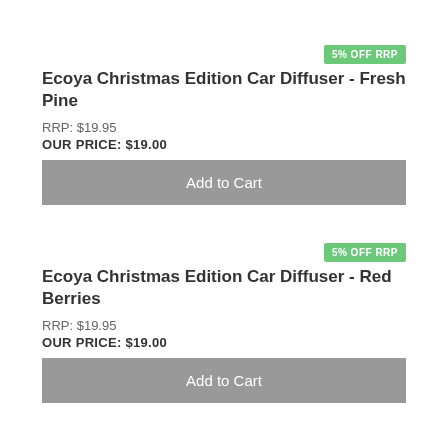5% OFF RRP
Ecoya Christmas Edition Car Diffuser - Fresh Pine
RRP: $19.95
OUR PRICE: $19.00
Add to Cart
5% OFF RRP
Ecoya Christmas Edition Car Diffuser - Red Berries
RRP: $19.95
OUR PRICE: $19.00
Add to Cart